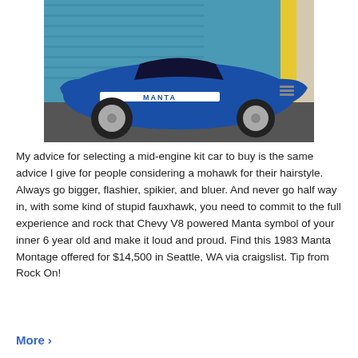[Figure (photo): A blue Manta kit car (Manta Montage) with wide bodywork and large tires, parked in front of blue garage doors. The word MANTA appears on the side of the car in a white stripe.]
My advice for selecting a mid-engine kit car to buy is the same advice I give for people considering a mohawk for their hairstyle. Always go bigger, flashier, spikier, and bluer. And never go half way in, with some kind of stupid fauxhawk, you need to commit to the full experience and rock that Chevy V8 powered Manta symbol of your inner 6 year old and make it loud and proud. Find this 1983 Manta Montage offered for $14,500 in Seattle, WA via craigslist. Tip from Rock On!
More >